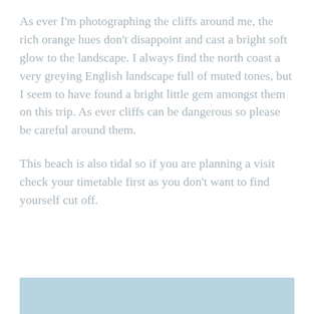As ever I'm photographing the cliffs around me, the rich orange hues don't disappoint and cast a bright soft glow to the landscape. I always find the north coast a very greying English landscape full of muted tones, but I seem to have found a bright little gem amongst them on this trip. As ever cliffs can be dangerous so please be careful around them.
This beach is also tidal so if you are planning a visit check your timetable first as you don't want to find yourself cut off.
[Figure (photo): Partial view of a beach photograph, showing a light blue/grey tonal coastal scene at the bottom of the page.]